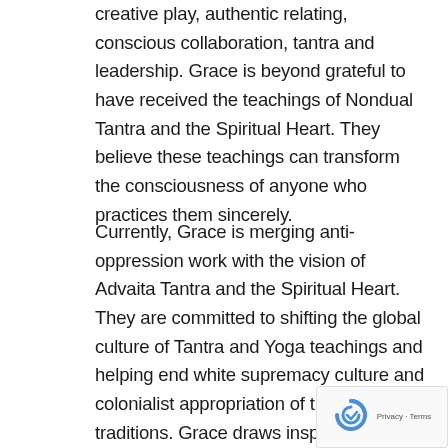creative play, authentic relating, conscious collaboration, tantra and leadership. Grace is beyond grateful to have received the teachings of Nondual Tantra and the Spiritual Heart. They believe these teachings can transform the consciousness of anyone who practices them sincerely.
Currently, Grace is merging anti-oppression work with the vision of Advaita Tantra and the Spiritual Heart. They are committed to shifting the global culture of Tantra and Yoga teachings and helping end white supremacy culture and colonialist appropriation of these beautiful traditions. Grace draws inspiration from the original Tantra concept of kula (spiritual family) which was open to everyone and where castes, and genders could practice side-by-side. T...